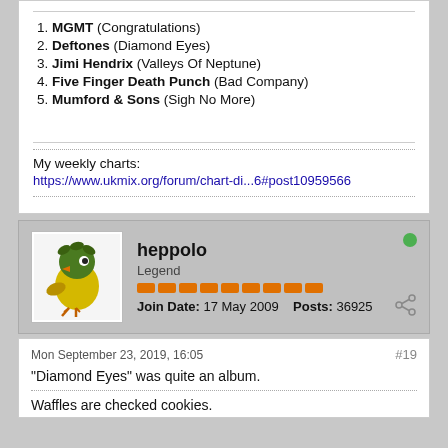1. MGMT (Congratulations)
2. Deftones (Diamond Eyes)
3. Jimi Hendrix (Valleys Of Neptune)
4. Five Finger Death Punch (Bad Company)
5. Mumford & Sons (Sigh No More)
My weekly charts:
https://www.ukmix.org/forum/chart-di...6#post10959566
heppolo
Legend
Join Date: 17 May 2009   Posts: 36925
Mon September 23, 2019, 16:05
#19
"Diamond Eyes" was quite an album.
Waffles are checked cookies.